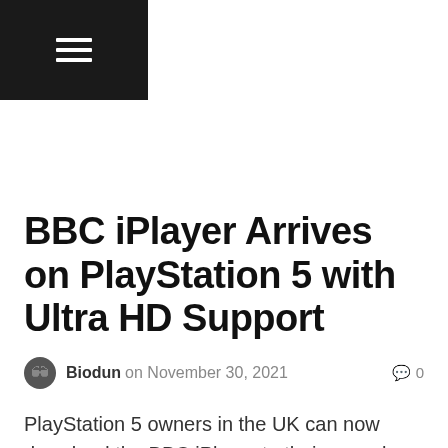[Figure (other): Navigation hamburger menu icon on dark background]
BBC iPlayer Arrives on PlayStation 5 with Ultra HD Support
Biodun on November 30, 2021  0
PlayStation 5 owners in the UK can now download the BBC iPlayer to their console starting today. The PS5 already boast media apps such as Netflix, Twitch,